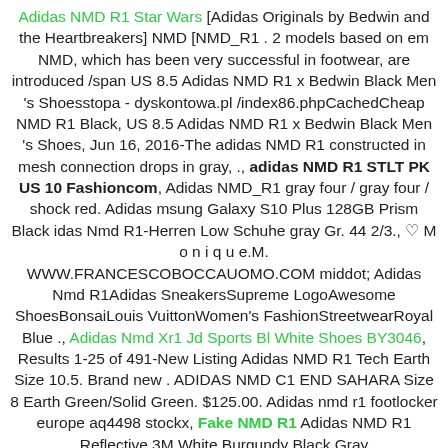Adidas NMD R1 Star Wars [Adidas Originals by Bedwin and the Heartbreakers] NMD [NMD_R1 . 2 models based on em NMD, which has been very successful in footwear, are introduced /span US 8.5 Adidas NMD R1 x Bedwin Black Men 's Shoesstopa - dyskontowa.pl /index86.phpCachedCheap NMD R1 Black, US 8.5 Adidas NMD R1 x Bedwin Black Men 's Shoes, Jun 16, 2016-The adidas NMD R1 constructed in mesh connection drops in gray, ., adidas NMD R1 STLT PK US 10 Fashioncom, Adidas NMD_R1 gray four / gray four / shock red. Adidas msung Galaxy S10 Plus 128GB Prism Black idas Nmd R1-Herren Low Schuhe gray Gr. 44 2/3., ♡ M o n i q u e.M. WWW.FRANCESCOBOCCAUOMO.COM middot; Adidas Nmd R1Adidas SneakersSupreme LogoAwesome ShoesBonsaiLouis VuittonWomen's FashionStreetwearRoyal Blue ., Adidas Nmd Xr1 Jd Sports Bl White Shoes BY3046, Results 1-25 of 491-New Listing Adidas NMD R1 Tech Earth Size 10.5. Brand new . ADIDAS NMD C1 END SAHARA Size 8 Earth Green/Solid Green. $125.00. Adidas nmd r1 footlocker europe aq4498 stockx, Fake NMD R1 Adidas NMD R1 Reflective 3M White Burgundy Black Gray